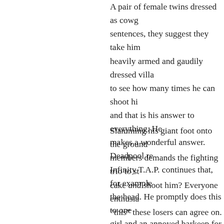A pair of female twins dressed as cowg... sentences, they suggest they take him ... heavily armed and gaudily dressed villa... to see how many times he can shoot hi... and that is his answer to everything. He... makes a wonderful answer. Deadpool r... Infinity T.A.P. continues that, for example... the head. He promptly does this to one ... girl and an annoyed barkeep for the res...
Slamming his giant foot onto the ground... members demands the fighting trio to st... cake and shoot him? Everyone enthusia... "this" these losers can agree on.
Excited, the group enters the men's roo... back out. After claiming that they've bee... bodies together, reshaping their image i... if they're happy now. From behind the c... When one of them asks why they shoul... each and every one of them. When a v... could, Foot of Doom replies that he can... him"b... and C... h...